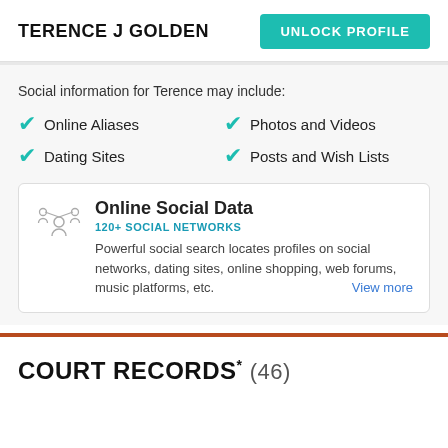TERENCE J GOLDEN
UNLOCK PROFILE
Social information for Terence may include:
Online Aliases
Photos and Videos
Dating Sites
Posts and Wish Lists
Online Social Data
120+ SOCIAL NETWORKS
Powerful social search locates profiles on social networks, dating sites, online shopping, web forums, music platforms, etc.
View more
COURT RECORDS* (46)